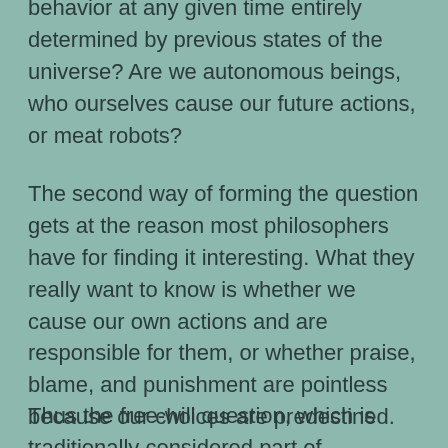behavior at any given time entirely determined by previous states of the universe? Are we autonomous beings, who ourselves cause our future actions, or meat robots?
The second way of forming the question gets at the reason most philosophers have for finding it interesting. What they really want to know is whether we cause our own actions and are responsible for them, or whether praise, blame, and punishment are pointless because our choices are predestined.
Thus the free-will question, which is traditionally considered part of metaphysics or